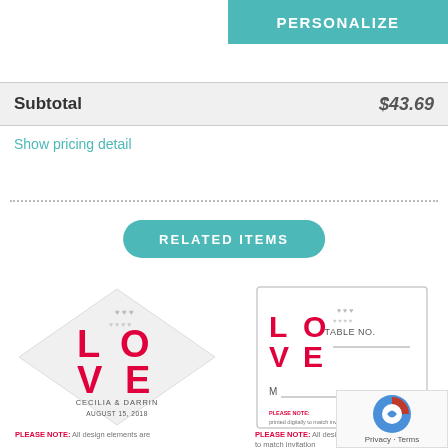PERSONALIZE
| Subtotal | $43.69 |
| --- | --- |
Show pricing detail
RELATED ITEMS
[Figure (illustration): Wedding favor label with LOVE design in red, diamond shaped, with text CECILIA & DARRIN, AUGUST 15, 2018]
[Figure (illustration): Wedding table number card with LOVE design in red, showing TABLE NO. and M line]
PLEASE NOTE: All design elements are
PLEASE NOTE: All design elements printed digitally to match invitation